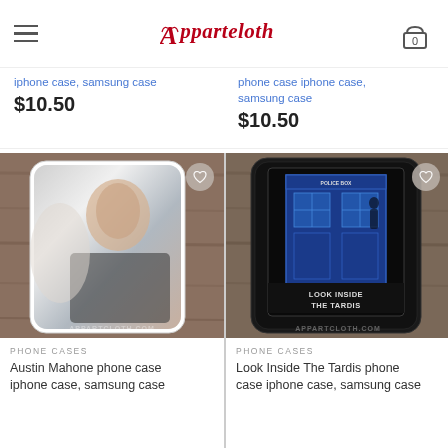Apparteloth - navigation header with hamburger menu and cart icon (0)
iphone case, samsung case
$10.50
phone case iphone case, samsung case
$10.50
[Figure (photo): Austin Mahone phone case product photo showing a white phone case with a photo of Austin Mahone on a wooden background. Has a heart/wishlist icon in top right. Watermark reads apparteloth.com]
[Figure (photo): Look Inside The Tardis phone case product photo showing a black phone case with a blue TARDIS police box design and text LOOK INSIDE THE TARDIS on a wooden background. Has a heart/wishlist icon in top right. Watermark reads apparteloth.com]
PHONE CASES
Austin Mahone phone case iphone case, samsung case
PHONE CASES
Look Inside The Tardis phone case iphone case, samsung case